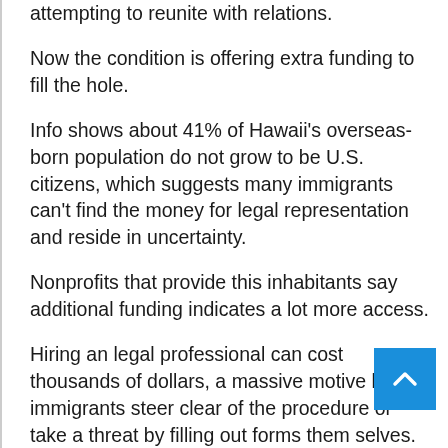attempting to reunite with relations.
Now the condition is offering extra funding to fill the hole.
Info shows about 41% of Hawaii's overseas-born population do not grow to be U.S. citizens, which suggests many immigrants can't find the money for legal representation and reside in uncertainty.
Nonprofits that provide this inhabitants say additional funding indicates a lot more access.
Hiring an legal professional can cost thousands of dollars, a massive motive lots of immigrants steer clear of the procedure or take a threat by filling out forms them selves.
“It is a very technological spot of legislation,”